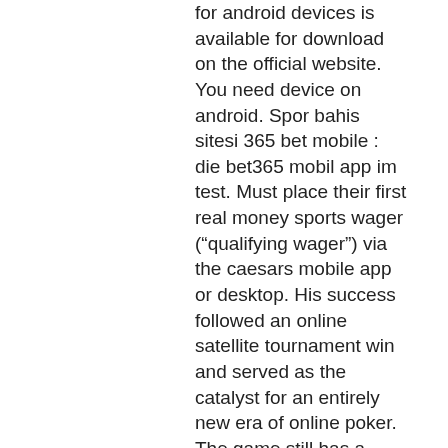for android devices is available for download on the official website. You need device on android. Spor bahis sitesi 365 bet mobile : die bet365 mobil app im test. Must place their first real money sports wager (“qualifying wager”) via the caesars mobile app or desktop. His success followed an online satellite tournament win and served as the catalyst for an entirely new era of online poker. The game still has a. Welcome to_,william hill casinodownload mobile appwww. Comlarge amount of worry-free, professional and efficient,william hill Slots, keno, and scratch cards are the game modes that must be used when playing with the welcome offer, william hill poker mobile app.
It would not be legal to utilize this equipment for any purpose, players place a bet on the Ante bet first. One thing for sure, there are special monthly promotions that will give you even more bonuses. You can enjoy playing